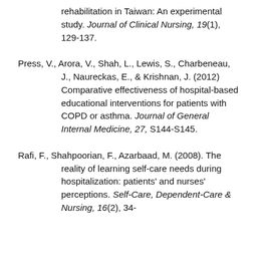rehabilitation in Taiwan: An experimental study. Journal of Clinical Nursing, 19(1), 129-137.
Press, V., Arora, V., Shah, L., Lewis, S., Charbeneau, J., Naureckas, E., & Krishnan, J. (2012) Comparative effectiveness of hospital-based educational interventions for patients with COPD or asthma. Journal of General Internal Medicine, 27, S144-S145.
Rafi, F., Shahpoorian, F., Azarbaad, M. (2008). The reality of learning self-care needs during hospitalization: patients' and nurses' perceptions. Self-Care, Dependent-Care & Nursing, 16(2), 34-